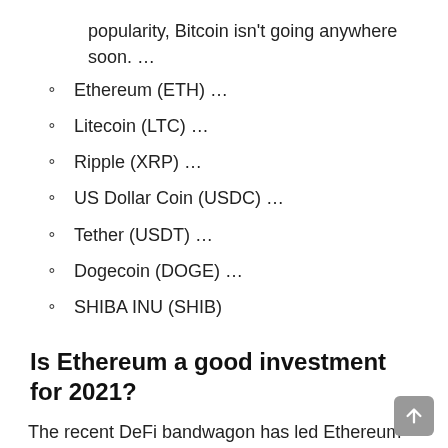popularity, Bitcoin isn't going anywhere soon. …
Ethereum (ETH) …
Litecoin (LTC) …
Ripple (XRP) …
US Dollar Coin (USDC) …
Tether (USDT) …
Dogecoin (DOGE) …
SHIBA INU (SHIB)
Is Ethereum a good investment for 2021?
The recent DeFi bandwagon has led Ethereum to outperform Bitcoin and nearly all other altcoins, making it one of the best investments in 2021.